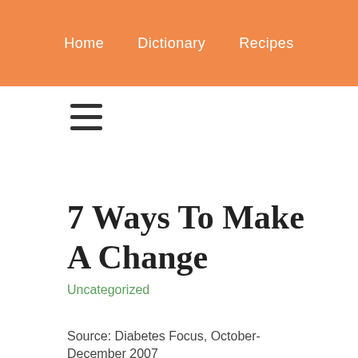Home   Dictionary   Recipes
[Figure (other): Hamburger menu icon with three horizontal lines]
7 Ways To Make A Change
Uncategorized
Source: Diabetes Focus, October-December 2007